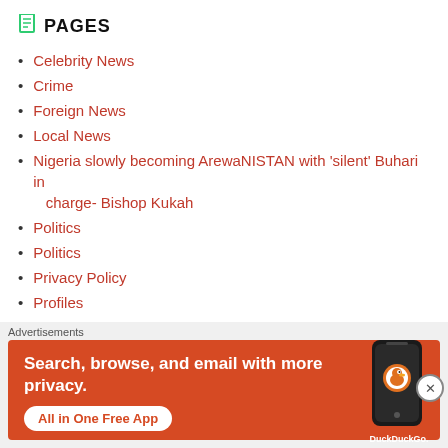PAGES
Celebrity News
Crime
Foreign News
Local News
Nigeria slowly becoming ArewaNISTAN with 'silent' Buhari in charge- Bishop Kukah
Politics
Politics
Privacy Policy
Profiles
Sports News
Terms and Conditions
Three dead, Ten others injured in Lone Auto Crash in Ogun
[Figure (screenshot): DuckDuckGo advertisement banner: 'Search, browse, and email with more privacy. All in One Free App' with DuckDuckGo logo and phone image on orange background.]